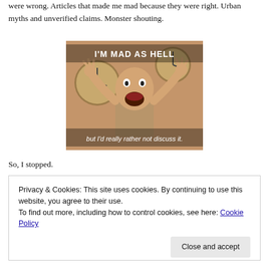were wrong. Articles that made me mad because they were right. Urban myths and unverified claims. Monster shouting.
[Figure (photo): A man with arms raised and mouth open in apparent rage, with clocks visible in background. Text overlay reads: "I'M MAD AS HELL" at top and "but I'd really rather not discuss it." at bottom.]
So, I stopped.
Privacy & Cookies: This site uses cookies. By continuing to use this website, you agree to their use.
To find out more, including how to control cookies, see here: Cookie Policy
Close and accept